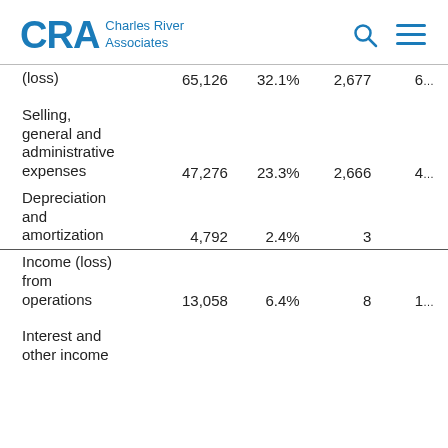CRA Charles River Associates
|  |  |  |  |  |
| --- | --- | --- | --- | --- |
| (loss) | 65,126 | 32.1% | 2,677 | 6… |
| Selling, general and administrative expenses | 47,276 | 23.3% | 2,666 | 4… |
| Depreciation and amortization | 4,792 | 2.4% | 3 | … |
| Income (loss) from operations | 13,058 | 6.4% | 8 | 1… |
| Interest and other income |  |  |  |  |